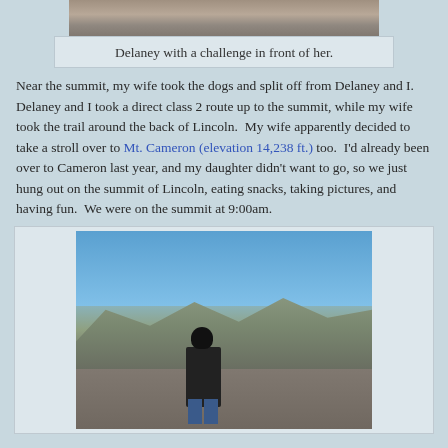[Figure (photo): Top portion of a photo showing rocky mountain terrain - Delaney with a challenge in front of her]
Delaney with a challenge in front of her.
Near the summit, my wife took the dogs and split off from Delaney and I. Delaney and I took a direct class 2 route up to the summit, while my wife took the trail around the back of Lincoln. My wife apparently decided to take a stroll over to Mt. Cameron (elevation 14,238 ft.) too. I'd already been over to Cameron last year, and my daughter didn't want to go, so we just hung out on the summit of Lincoln, eating snacks, taking pictures, and having fun. We were on the summit at 9:00am.
[Figure (photo): Person standing on a mountain summit with blue sky and mountain ridgeline in the background, holding something, wearing dark jacket and jeans]